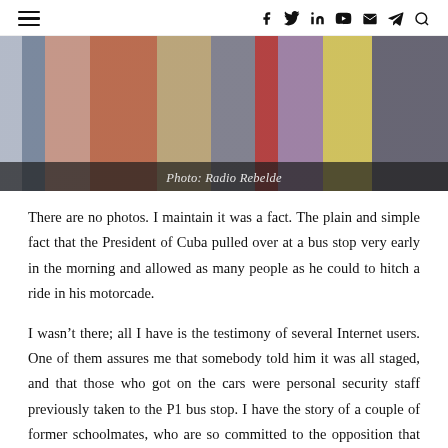Navigation and social icons header
[Figure (photo): Close-up photo of people's legs and lower bodies walking, wearing colorful clothing including red shorts, khaki pants, blue patterned shorts, yellow shorts. Caption: Photo: Radio Rebelde]
Photo: Radio Rebelde
There are no photos. I maintain it was a fact. The plain and simple fact that the President of Cuba pulled over at a bus stop very early in the morning and allowed as many people as he could to hitch a ride in his motorcade.
I wasn't there; all I have is the testimony of several Internet users. One of them assures me that somebody told him it was all staged, and that those who got on the cars were personal security staff previously taken to the P1 bus stop. I have the story of a couple of former schoolmates, who are so committed to the opposition that they fear they could lose the